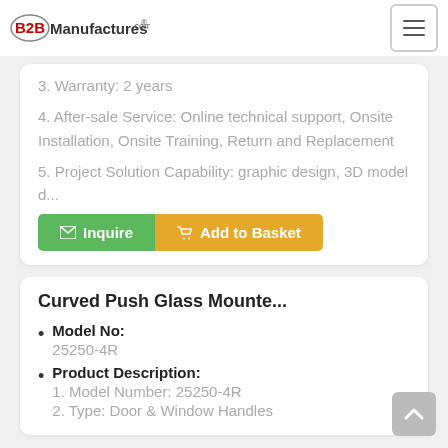B2BManufactures.com
3. Warranty: 2 years
4. After-sale Service: Online technical support, Onsite Installation, Onsite Training, Return and Replacement
5. Project Solution Capability: graphic design, 3D model d...
Inquire | Add to Basket
Curved Push Glass Mounte...
Model No: 25250-4R
Product Description: 1. Model Number: 25250-4R  2. Type: Door & Window Handles